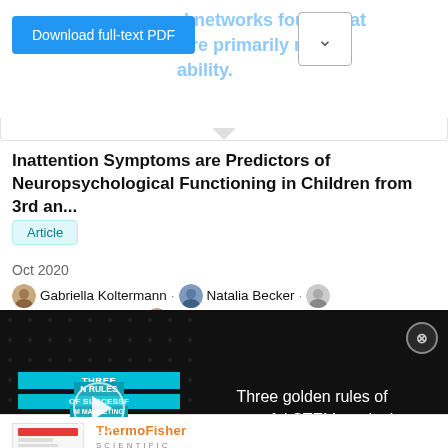...onal networks found that...were primarily related...ability.
[Figure (screenshot): Download full-text PDF button (blue) and dropdown button]
Inattention Symptoms are Predictors of Neuropsychological Functioning in Children from 3rd an...
Article
Oct 2020
Gabriella Koltermann · Natalia Becker · Giulia Moreira Paiva · Jerusa Salles
[Figure (screenshot): Video ad overlay: Three golden rules of successful STEM marketing. Shows video thumbnail on left with play button and teal banner text, title on right, close button.]
[Figure (screenshot): ThermoFisher Scientific ad thumbnail and Viral Research using Multiomics title]